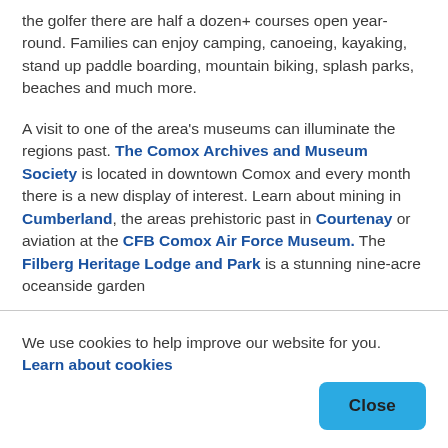the golfer there are half a dozen+ courses open year-round. Families can enjoy camping, canoeing, kayaking, stand up paddle boarding, mountain biking, splash parks, beaches and much more.
A visit to one of the area's museums can illuminate the regions past. The Comox Archives and Museum Society is located in downtown Comox and every month there is a new display of interest. Learn about mining in Cumberland, the areas prehistoric past in Courtenay or aviation at the CFB Comox Air Force Museum. The Filberg Heritage Lodge and Park is a stunning nine-acre oceanside garden
We use cookies to help improve our website for you. Learn about cookies